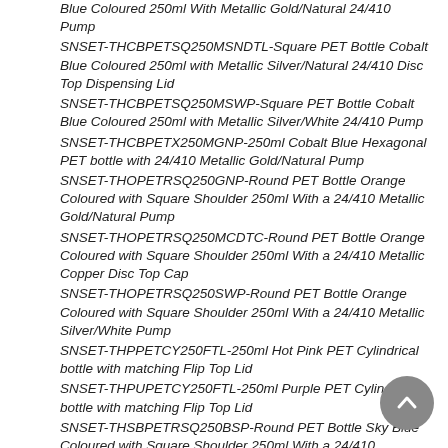Blue Coloured 250ml With Metallic Gold/Natural 24/410 Pump
SNSET-THCBPETSQ250MSNDTL-Square PET Bottle Cobalt Blue Coloured 250ml with Metallic Silver/Natural 24/410 Disc Top Dispensing Lid
SNSET-THCBPETSQ250MSWP-Square PET Bottle Cobalt Blue Coloured 250ml with Metallic Silver/White 24/410 Pump
SNSET-THCBPETX250MGNP-250ml Cobalt Blue Hexagonal PET bottle with 24/410 Metallic Gold/Natural Pump
SNSET-THOPETRSQ250GNP-Round PET Bottle Orange Coloured with Square Shoulder 250ml With a 24/410 Metallic Gold/Natural Pump
SNSET-THOPETRSQ250MCDTC-Round PET Bottle Orange Coloured with Square Shoulder 250ml With a 24/410 Metallic Copper Disc Top Cap
SNSET-THOPETRSQ250SWP-Round PET Bottle Orange Coloured with Square Shoulder 250ml With a 24/410 Metallic Silver/White Pump
SNSET-THPPETCY250FTL-250ml Hot Pink PET Cylindrical bottle with matching Flip Top Lid
SNSET-THPUPETCY250FTL-250ml Purple PET Cylindrical bottle with matching Flip Top Lid
SNSET-THSBPETRSQ250BSP-Round PET Bottle Sky Blue Coloured with Square Shoulder 250ml With a 24/410 Black/Silver Pump
SNSET-THSBPETRSQ250BWTBP-Round PET Bottle Sky Blue Coloured with Square Shoulder 250ml With a 24/410 Black Wide Thumb Base Plastic Pump
SNSET-THSBPETRSQ250NSNS-Round PET Bottle Sky Blue Coloured with Square Shoulder 250ml With a 24/410 Natural Swan Neck Sprayer
SNSET-THSBPETRSQ250SWP-Round PET Bottle Sky Blue Coloured with Square Shoulder 250ml With a 24/410 Metallic Silver/White Pump